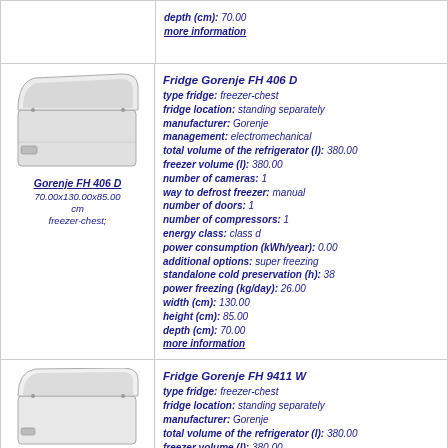depth (cm): 70.00
more information
[Figure (photo): Chest freezer Gorenje FH 406 D, white, open lid view]
Gorenje FH 406 D
70.00x130.00x85.00 cm
freezer-chest;
Fridge Gorenje FH 406 D
type fridge: freezer-chest
fridge location: standing separately
manufacturer: Gorenje
management: electromechanical
total volume of the refrigerator (l): 380.00
freezer volume (l): 380.00
number of cameras: 1
way to defrost freezer: manual
number of doors: 1
number of compressors: 1
energy class: class d
power consumption (kWh/year): 0.00
additional options: super freezing
standalone cold preservation (h): 38
power freezing (kg/day): 26.00
width (cm): 130.00
height (cm): 85.00
depth (cm): 70.00
more information
[Figure (photo): Chest freezer Gorenje FH 9411 W, white, open lid view]
Fridge Gorenje FH 9411 W
type fridge: freezer-chest
fridge location: standing separately
manufacturer: Gorenje
total volume of the refrigerator (l): 380.00
freezer volume (l): 380.00
number of cameras: 1